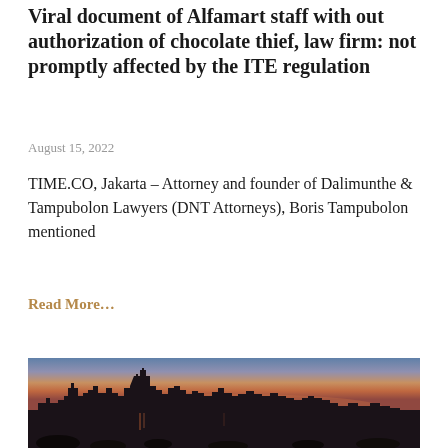Viral document of Alfamart staff with out authorization of chocolate thief, law firm: not promptly affected by the ITE regulation
August 15, 2022
TIME.CO, Jakarta – Attorney and founder of Dalimunthe & Tampubolon Lawyers (DNT Attorneys), Boris Tampubolon mentioned
Read More…
[Figure (photo): City skyline at sunset/dusk photographed from across a body of water, with rocky shoreline in foreground and tall skyscrapers silhouetted against an orange and purple sky]